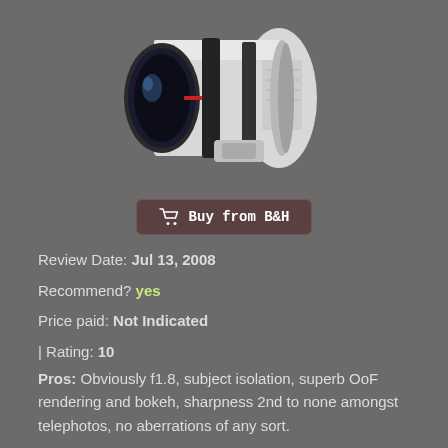[Figure (photo): Canon white telephoto lens (large aperture, approximately 400mm f/1.8 or similar), shown at an angle on a gray background.]
Buy from B&H
Review Date: Jul 13, 2008
Recommend? yes
Price paid: Not Indicated
| Rating: 10
Pros: Obviously f1.8, subject isolation, superb OoF rendering and bokeh, sharpness 2nd to none amongst telephotos, no aberrations of any sort.
Cons: Pod mount design/placement results in awkward handholding, lens strap lug position is very poor, the hood too